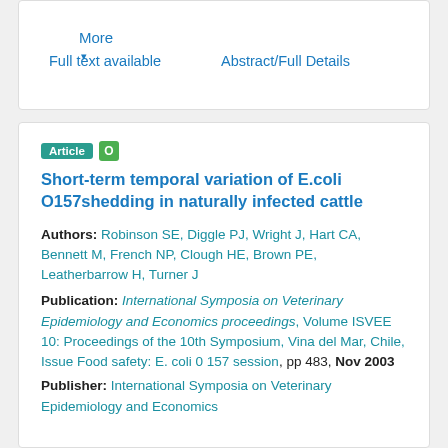More ▾
Full text available    Abstract/Full Details
Article  O
Short-term temporal variation of E.coli O157shedding in naturally infected cattle
Authors: Robinson SE, Diggle PJ, Wright J, Hart CA, Bennett M, French NP, Clough HE, Brown PE, Leatherbarrow H, Turner J
Publication: International Symposia on Veterinary Epidemiology and Economics proceedings, Volume ISVEE 10: Proceedings of the 10th Symposium, Vina del Mar, Chile, Issue Food safety: E. coli 0 157 session, pp 483, Nov 2003
Publisher: International Symposia on Veterinary Epidemiology and Economics